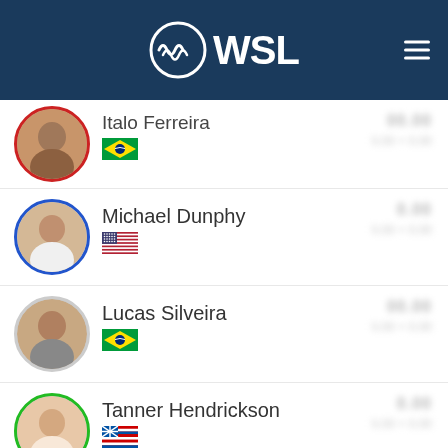[Figure (logo): WSL (World Surf League) logo in white on dark blue header with hamburger menu icon]
Italo Ferreira — Brazil flag — scores blurred
Michael Dunphy — USA flag — scores blurred
Lucas Silveira — Brazil flag — scores blurred
Tanner Hendrickson — Hawaii flag — scores blurred
HEAT 13  PLAYING
Completed September 25, 2019
Details